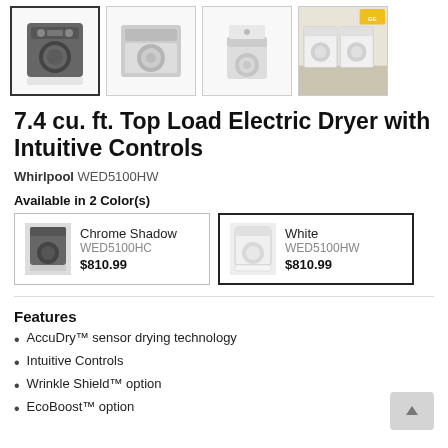[Figure (photo): Four product thumbnail images of a Whirlpool dryer: first selected (dryer front view, Chrome Shadow), second (top load dryer top view), third (small washer/dryer pedestal), fourth (lifestyle scene with laundry room)]
7.4 cu. ft. Top Load Electric Dryer with Intuitive Controls
Whirlpool WED5100HW
Available in 2 Color(s)
| Chrome Shadow | WED5100HC | $810.99 |
| White | WED5100HW | $810.99 |
Features
AccuDry™ sensor drying technology
Intuitive Controls
Wrinkle Shield™ option
EcoBoost™ option